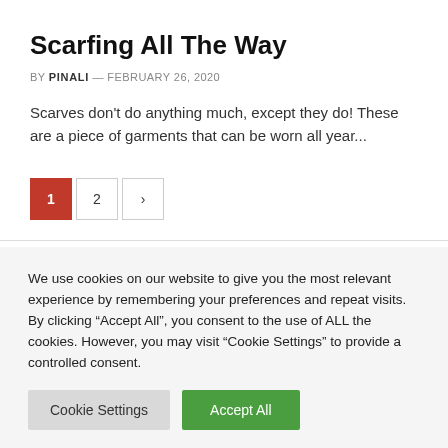Scarfing All The Way
BY PINALI — FEBRUARY 26, 2020
Scarves don't do anything much, except they do! These are a piece of garments that can be worn all year...
Pagination: 1, 2, >
We use cookies on our website to give you the most relevant experience by remembering your preferences and repeat visits. By clicking "Accept All", you consent to the use of ALL the cookies. However, you may visit "Cookie Settings" to provide a controlled consent.